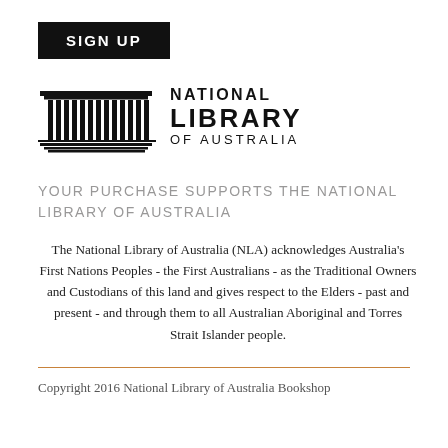SIGN UP
[Figure (logo): National Library of Australia logo — stylized building columns on left, bold text NATIONAL LIBRARY OF AUSTRALIA on right]
YOUR PURCHASE SUPPORTS THE NATIONAL LIBRARY OF AUSTRALIA
The National Library of Australia (NLA) acknowledges Australia's First Nations Peoples - the First Australians - as the Traditional Owners and Custodians of this land and gives respect to the Elders - past and present - and through them to all Australian Aboriginal and Torres Strait Islander people.
Copyright 2016 National Library of Australia Bookshop